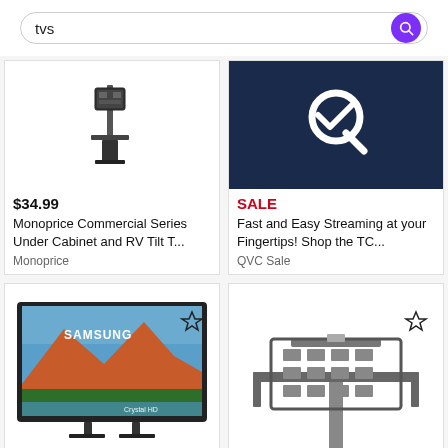[Figure (screenshot): Search bar with 'tvs' query and purple search button]
[Figure (photo): TV wall mount bracket product image]
[Figure (logo): QVC logo on dark blue background]
$34.99
Monoprice Commercial Series Under Cabinet and RV Tilt T...
Monoprice
SALE
Fast and Easy Streaming at your Fingertips! Shop the TC...
QVC Sale
[Figure (photo): Samsung Crystal HD TV showing mountain lake landscape]
[Figure (photo): TV stand mount with black metal pole and bracket]